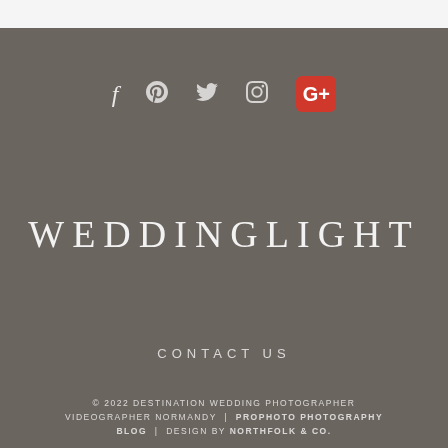[Figure (other): Social media icons row: Facebook (f), Pinterest (p), Twitter bird, Instagram, Google+ (red square with G+)]
WEDDINGLIGHT
CONTACT US
© 2022 DESTINATION WEDDING PHOTOGRAPHER VIDEOGRAPHER NORMANDY | PROPHOTO PHOTOGRAPHY BLOG | DESIGN BY NORTHFOLK & CO.